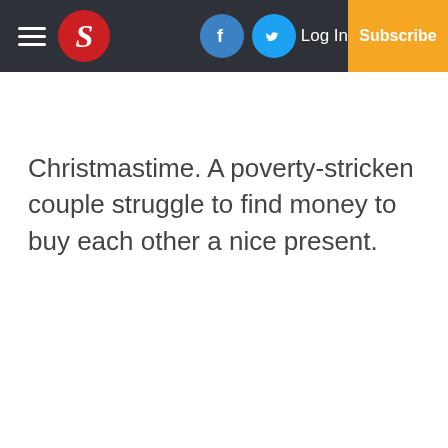S | Log In | Subscribe
Christmastime. A poverty-stricken couple struggle to find money to buy each other a nice present.